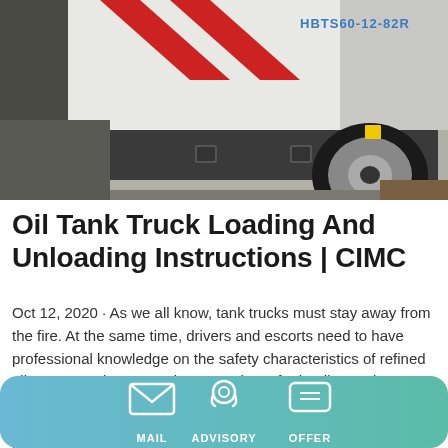[Figure (photo): A white and red industrial truck (HBTS60-12-82R) with large black off-road tires, viewed from the side/rear at an outdoor location.]
Oil Tank Truck Loading And Unloading Instructions | CIMC
Oct 12, 2020 · As we all know, tank trucks must stay away from the fire. At the same time, drivers and escorts need to have professional knowledge on the safety characteristics of refined oil transportation, operating procedures for loading and unloading oil, etc.; in accordance with the relevant regulations of the national fuel tank truck transportation compulsory insurance, participate in the corresponding
MAIL   ADVISORY   OFFER